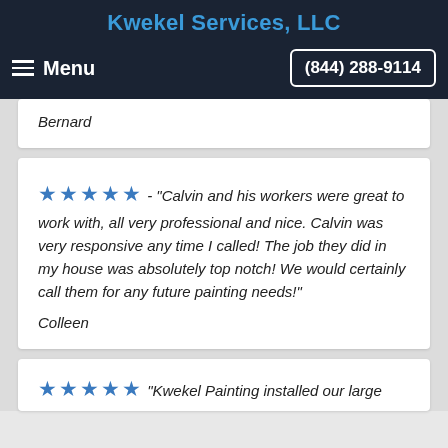Kwekel Services, LLC
Menu  (844) 288-9114
Bernard
★★★★★ - "Calvin and his workers were great to work with, all very professional and nice. Calvin was very responsive any time I called! The job they did in my house was absolutely top notch! We would certainly call them for any future painting needs!"
Colleen
★★★★★  "Kwekel Painting installed our large